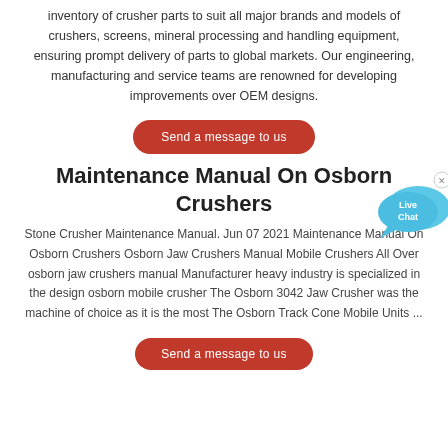inventory of crusher parts to suit all major brands and models of crushers, screens, mineral processing and handling equipment, ensuring prompt delivery of parts to global markets. Our engineering, manufacturing and service teams are renowned for developing improvements over OEM designs.
[Figure (other): Red rounded-rectangle button labeled 'Send a message to us']
[Figure (other): Live Chat widget with two speech bubbles in cyan/blue with text 'Live Chat' and a small X close button]
Maintenance Manual On Osborn Crushers
Stone Crusher Maintenance Manual. Jun 07 2021 Maintenance Manual On Osborn Crushers Osborn Jaw Crushers Manual Mobile Crushers All Over osborn jaw crushers manual Manufacturer heavy industry is specialized in the design osborn mobile crusher The Osborn 3042 Jaw Crusher was the machine of choice as it is the most The Osborn Track Cone Mobile Units ...
[Figure (other): Red rounded-rectangle button labeled 'Send a message to us' (partially visible at bottom)]